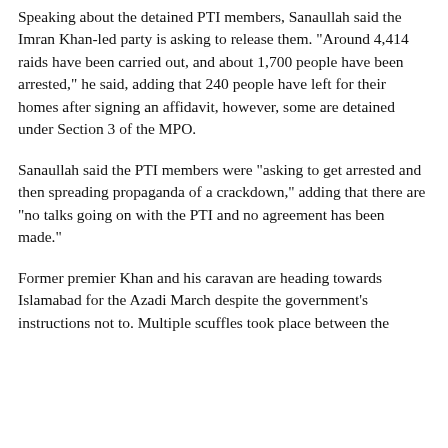Speaking about the detained PTI members, Sanaullah said the Imran Khan-led party is asking to release them. "Around 4,414 raids have been carried out, and about 1,700 people have been arrested," he said, adding that 240 people have left for their homes after signing an affidavit, however, some are detained under Section 3 of the MPO.
Sanaullah said the PTI members were "asking to get arrested and then spreading propaganda of a crackdown," adding that there are "no talks going on with the PTI and no agreement has been made."
Former premier Khan and his caravan are heading towards Islamabad for the Azadi March despite the government's instructions not to. Multiple scuffles took place between the